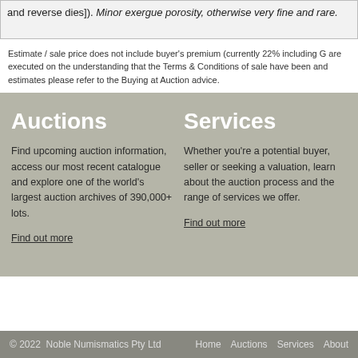and reverse dies]). Minor exergue porosity, otherwise very fine and rare.
Estimate / sale price does not include buyer's premium (currently 22% including G... are executed on the understanding that the Terms & Conditions of sale have been... and estimates please refer to the Buying at Auction advice.
Auctions
Find upcoming auction information, access our most recent catalogue and explore one of the world's largest auction archives of 390,000+ lots.
Find out more
Services
Whether you're a potential buyer, seller or seeking a valuation, learn about the auction process and the range of services we offer.
Find out more
© 2022  Noble Numismatics Pty Ltd    Home   Auctions   Services   About